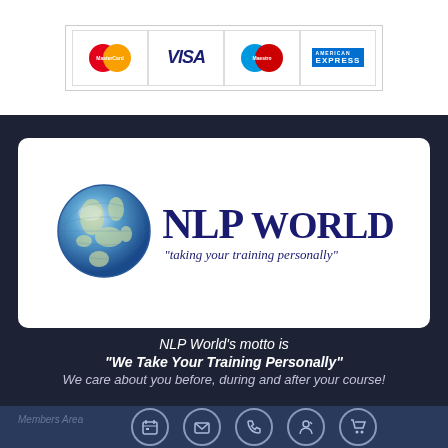[Figure (other): Payment card logos: MasterCard, VISA, Maestro, American Express in bordered cells]
[Figure (logo): NLP World logo with globe graphic and text 'NLP WORLD taking your training personally']
NLP World's motto is
"We Take Your Training Personally"
We care about you before, during and after your course!
NLP World Links
[Figure (other): Bottom navigation bar with circular icon buttons: calendar, email, phone, person, cart]